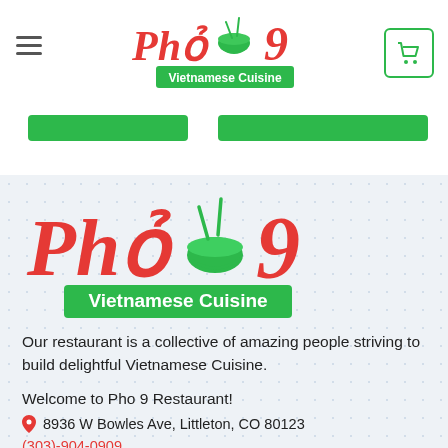[Figure (logo): Pho 9 Vietnamese Cuisine logo in header — red script text 'Phở' with green bowl icon and number 9, subtitle 'Vietnamese Cuisine' on green background]
[Figure (logo): Pho 9 Vietnamese Cuisine large logo in main content area — red script 'Phở' with green bowl and chopsticks icon, large red '9', green banner 'Vietnamese Cuisine']
Our restaurant is a collective of amazing people striving to build delightful Vietnamese Cuisine.
Welcome to Pho 9 Restaurant!
8936 W Bowles Ave, Littleton, CO 80123
(303)-904-0909